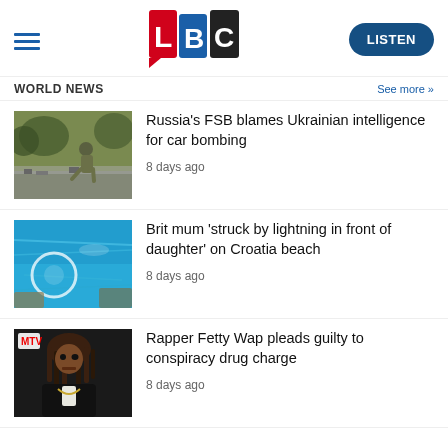LBC — LISTEN
WORLD NEWS
See more »
[Figure (photo): Person crouching at a roadside scene, debris visible]
Russia's FSB blames Ukrainian intelligence for car bombing
8 days ago
[Figure (photo): Aerial or close-up view of a blue swimming pool or sea with bright sunlight reflections]
Brit mum 'struck by lightning in front of daughter' on Croatia beach
8 days ago
[Figure (photo): Rapper Fetty Wap at an event, wearing black, with dreadlocks]
Rapper Fetty Wap pleads guilty to conspiracy drug charge
8 days ago